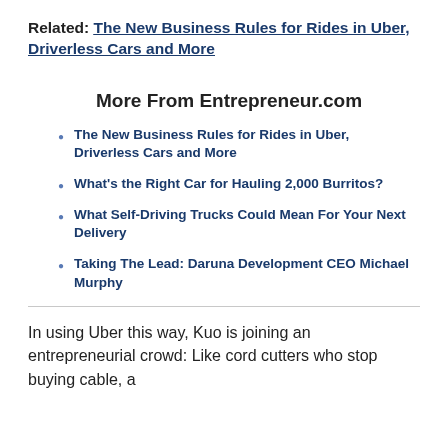Related: The New Business Rules for Rides in Uber, Driverless Cars and More
More From Entrepreneur.com
The New Business Rules for Rides in Uber, Driverless Cars and More
What's the Right Car for Hauling 2,000 Burritos?
What Self-Driving Trucks Could Mean For Your Next Delivery
Taking The Lead: Daruna Development CEO Michael Murphy
In using Uber this way, Kuo is joining an entrepreneurial crowd: Like cord cutters who stop buying cable, a